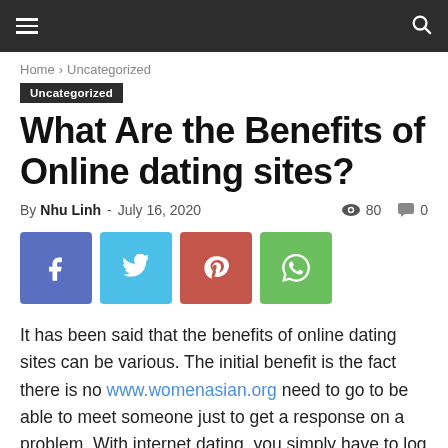Navigation bar with hamburger menu and search icon
Home › Uncategorized
Uncategorized
What Are the Benefits of Online dating sites?
By Nhu Linh - July 16, 2020   80   0
[Figure (other): Social sharing buttons: Facebook, Twitter, Pinterest, WhatsApp]
It has been said that the benefits of online dating sites can be various. The initial benefit is the fact there is no www.womenasian.org need to go to be able to meet someone just to get a response on a problem. With internet dating, you simply have to log onto a web site and click on the appropriate means to fix the specific form of question that